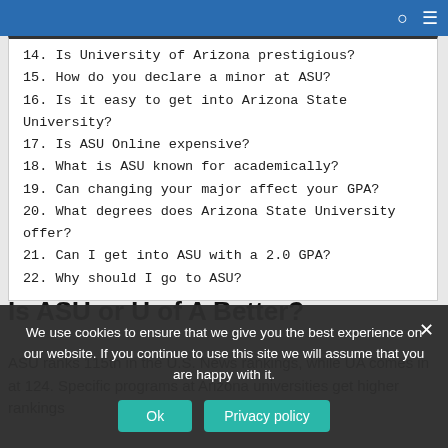Navigation bar with search and menu icons
14. Is University of Arizona prestigious?
15. How do you declare a minor at ASU?
16. Is it easy to get into Arizona State University?
17. Is ASU Online expensive?
18. What is ASU known for academically?
19. Can changing your major affect your GPA?
20. What degrees does Arizona State University offer?
21. Can I get into ASU with a 2.0 GPA?
22. Why should I go to ASU?
Is ASU or U of A Better?
ASU ranks 115th in the U.S. News rankings, while UA comes in at 124. Specific programs at Arizona universities get higher rankings
We use cookies to ensure that we give you the best experience on our website. If you continue to use this site we will assume that you are happy with it.